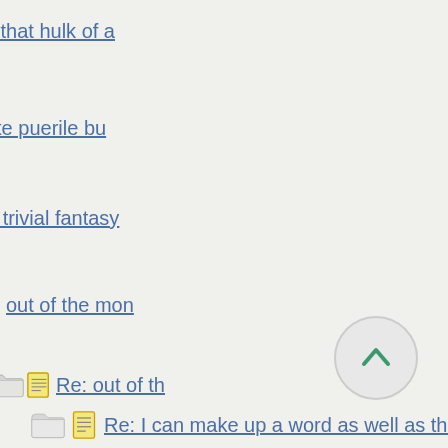- - -clean that hulk of a...
not quite puerile bu...
- - - trivial fantasy...
out of the mon...
Re: out of th...
stuck in hous...
Re: stuck ...
- - - -wh...
...or la...
- -m...
b...
Re: I can make up a word as well as the next one